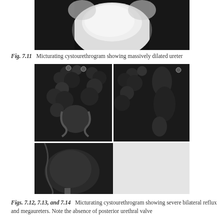[Figure (photo): Micturating cystourethrogram radiograph showing massively dilated ureter - top portion of image, black and white X-ray]
Fig. 7.11   Micturating cystourethrogram showing massively dilated ureter
[Figure (photo): Three panel micturating cystourethrogram images (Figs 7.12, 7.13, 7.14) showing severe bilateral reflux and megaureters with absence of posterior urethral valve]
Figs. 7.12, 7.13, and 7.14   Micturating cystourethrogram showing severe bilateral reflux and megaureters. Note the absence of posterior urethral valve